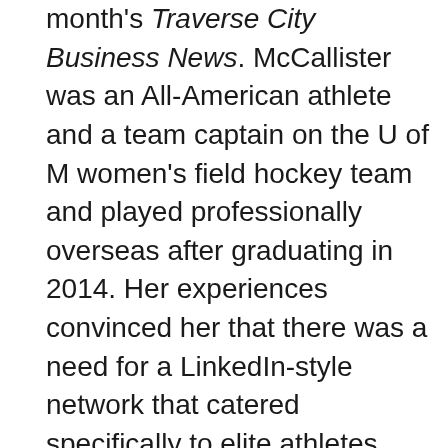month's Traverse City Business News. McCallister was an All-American athlete and a team captain on the U of M women's field hockey team and played professionally overseas after graduating in 2014. Her experiences convinced her that there was a need for a LinkedIn-style network that catered specifically to elite athletes. That idea morphed into Uru Sports, which has since helped place more than 600 athletes on professional teams overseas. The network also helps retired athletes find their next career paths.